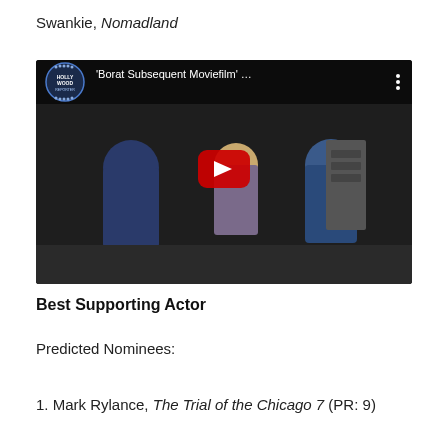Swankie, Nomadland
[Figure (screenshot): YouTube video thumbnail showing 'Borat Subsequent Moviefilm' Hollywood Reporter interview video with three people in a room, featuring the Hollywood Reporter logo and a red play button overlay.]
Best Supporting Actor
Predicted Nominees:
1. Mark Rylance, The Trial of the Chicago 7 (PR: 9)